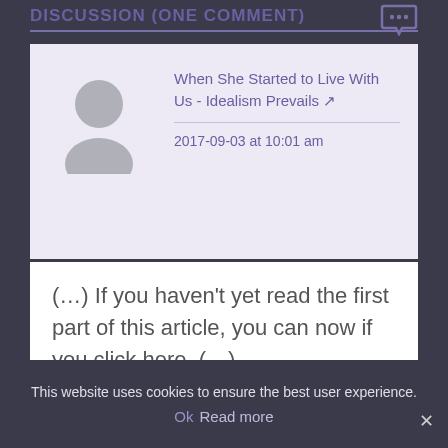DISCUSSION (ONE COMMENT)
[Figure (illustration): User avatar placeholder: grey circle with grey person silhouette on a light purple background]
When She Started to Live With Us - Idealism Prevails ↗
2017-09-03 at 10:01 am
(…) If you haven't yet read the first part of this article, you can now if you click here. (…)
This website uses cookies to ensure the best user experience.
Ok  Read more